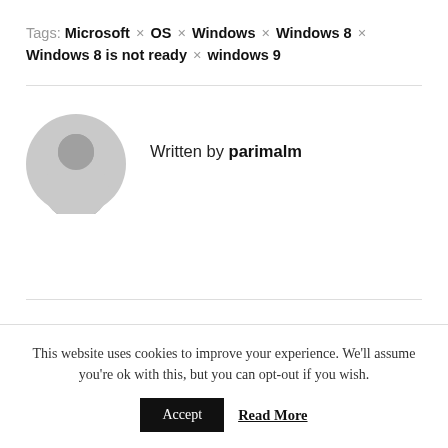Tags: Microsoft × OS × Windows × Windows 8 × Windows 8 is not ready × windows 9
[Figure (illustration): Gray avatar icon of a generic person silhouette]
Written by parimalm
This website uses cookies to improve your experience. We'll assume you're ok with this, but you can opt-out if you wish. Accept  Read More